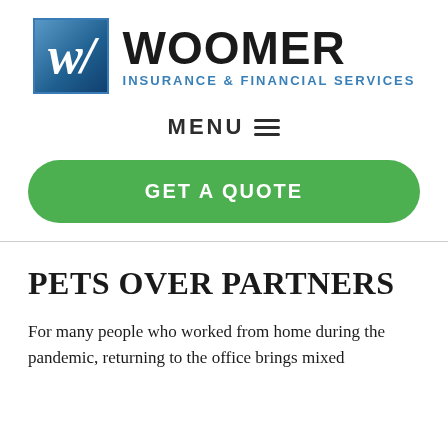[Figure (logo): Woomer Insurance & Financial Services logo: blue square with white stylized W, next to bold black WOOMER text and blue subtitle INSURANCE & FINANCIAL SERVICES]
MENU ≡
GET A QUOTE
PETS OVER PARTNERS
For many people who worked from home during the pandemic, returning to the office brings mixed